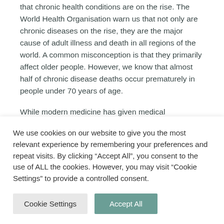that chronic health conditions are on the rise. The World Health Organisation warn us that not only are chronic diseases on the rise, they are the major cause of adult illness and death in all regions of the world. A common misconception is that they primarily affect older people. However, we know that almost half of chronic disease deaths occur prematurely in people under 70 years of age.

While modern medicine has given medical
We use cookies on our website to give you the most relevant experience by remembering your preferences and repeat visits. By clicking “Accept All”, you consent to the use of ALL the cookies. However, you may visit "Cookie Settings" to provide a controlled consent.